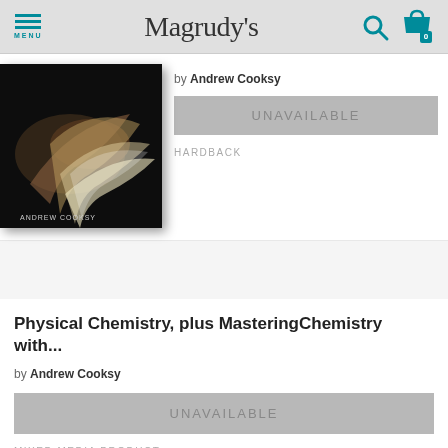Magrudy's
[Figure (photo): Book cover for Physical Chemistry by Andrew Cooksy — dark background with abstract silver/bronze liquid swirl, author name at bottom]
by Andrew Cooksy
UNAVAILABLE
HARDBACK
Physical Chemistry, plus MasteringChemistry with...
by Andrew Cooksy
UNAVAILABLE
MIXED MEDIA PRODUCT